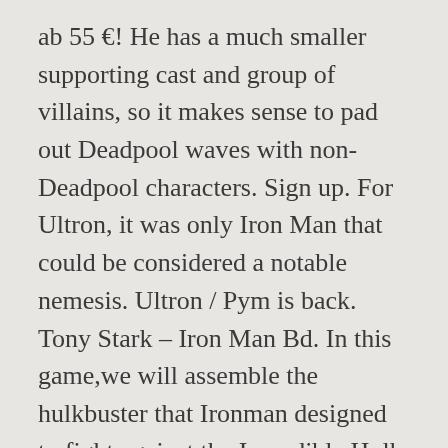ab 55 €! He has a much smaller supporting cast and group of villains, so it makes sense to pad out Deadpool waves with non-Deadpool characters. Sign up. For Ultron, it was only Iron Man that could be considered a notable nemesis. Ultron / Pym is back. Tony Stark – Iron Man Bd. In this game,we will assemble the hulkbuster that Ironman designed to fight against the Incredible Hulk. It's unexplained how he escaped being thrown into the sun, probably because Slott couldn't figure out how. in the Iron Man film franchise. Stelle dich der Ultron-Armee mit Iron Man MK45 entgegen Weiche den Shootern der Sub Ultron-Soldaten aus Bringe den Sub Ultron-Offizier mit Iron Man Super Ingenuer zug Foll Den Ultron Gefäh